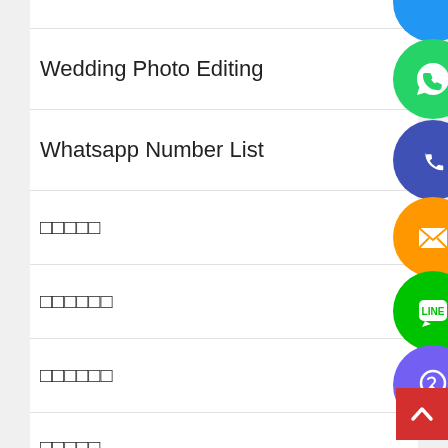Wedding Photo Editing
Whatsapp Number List
□□□□□
□□□□□□
□□□□□
□□□□□□
□□□□□
□□□□□